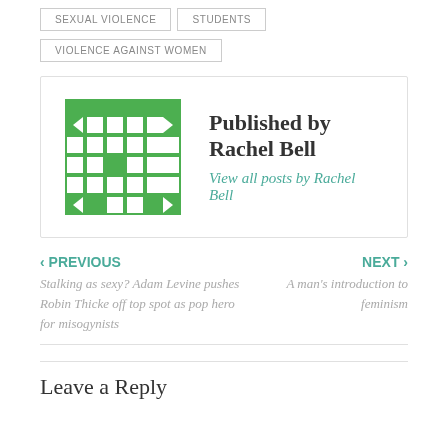SEXUAL VIOLENCE
STUDENTS
VIOLENCE AGAINST WOMEN
Published by Rachel Bell
View all posts by Rachel Bell
‹ PREVIOUS
Stalking as sexy? Adam Levine pushes Robin Thicke off top spot as pop hero for misogynists
NEXT ›
A man's introduction to feminism
Leave a Reply